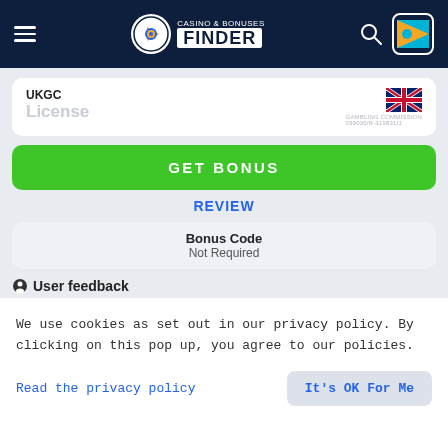[Figure (logo): Casino & Bonuses Finder website header with hamburger menu, logo, search icon, and country flag button on dark navy background]
UKGC
License
GET BONUS
REVIEW
Bonus Code
Not Required
User feedback
2
GOOD
0
BAD
We use cookies as set out in our privacy policy. By clicking on this pop up, you agree to our policies.
Read the privacy policy
It's OK For Me